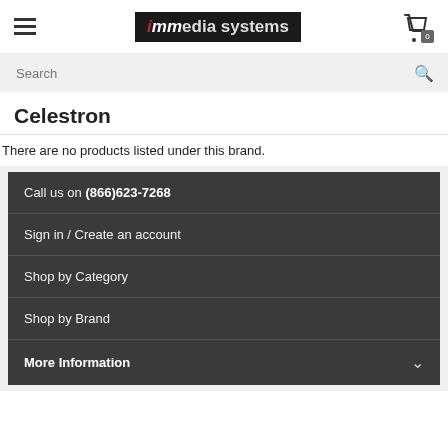[Figure (logo): immedia systems logo — black background with stylized text, 'imm' in white/red and 'edia systems' in white]
Celestron
There are no products listed under this brand.
Call us on (866)623-7268
Sign in / Create an account
Shop by Category
Shop by Brand
More Information